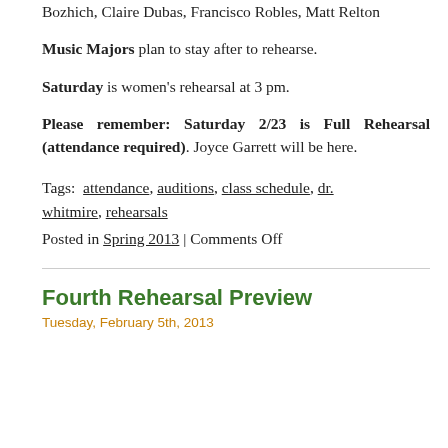Bozhich, Claire Dubas, Francisco Robles, Matt Relton
Music Majors plan to stay after to rehearse.
Saturday is women's rehearsal at 3 pm.
Please remember: Saturday 2/23 is Full Rehearsal (attendance required). Joyce Garrett will be here.
Tags: attendance, auditions, class schedule, dr. whitmire, rehearsals
Posted in Spring 2013 | Comments Off
Fourth Rehearsal Preview
Tuesday, February 5th, 2013